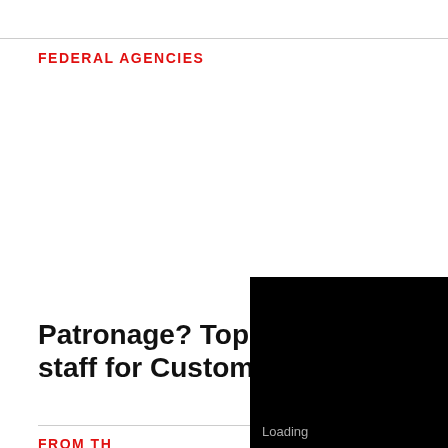FEDERAL AGENCIES
Patronage? Top Virginia Dem picked staff for Customs and Borde...
FROM TH...
[Figure (screenshot): Video player overlay showing '10 seconds...' countdown, Enable audio button with speaker icon, black video area with 'Loading' text]
[Figure (screenshot): Advertisement banner for a crypto/freedom app showing 'Freedom. Jobs. Business. Easy Crypto for Conservatives.' with download buttons for iOS and Android, X logo badge, endorsed by Glenn Hanson label]